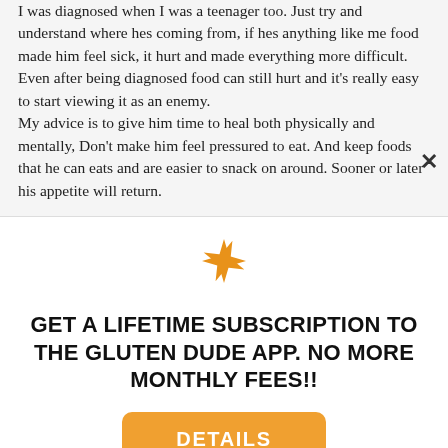I was diagnosed when I was a teenager too. Just try and understand where hes coming from, if hes anything like me food made him feel sick, it hurt and made everything more difficult. Even after being diagnosed food can still hurt and it's really easy to start viewing it as an enemy.
My advice is to give him time to heal both physically and mentally, Don't make him feel pressured to eat. And keep foods that he can eats and are easier to snack on around. Sooner or later his appetite will return.
[Figure (illustration): Orange starburst/asterisk decorative icon]
GET A LIFETIME SUBSCRIPTION TO THE GLUTEN DUDE APP. NO MORE MONTHLY FEES!!
DETAILS